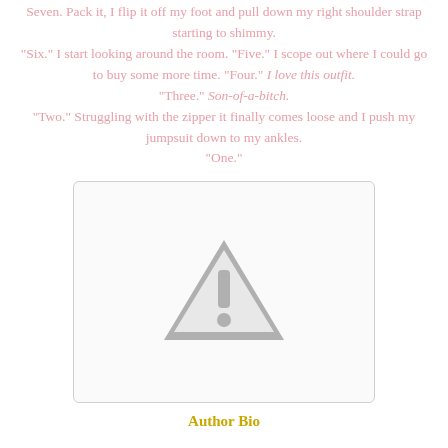Seven. Pack it, I flip it off my foot and pull down my right shoulder strap starting to shimmy. "Six." I start looking around the room. "Five." I scope out where I could go to buy some more time. "Four." I love this outfit. "Three." Son-of-a-bitch. "Two." Struggling with the zipper it finally comes loose and I push my jumpsuit down to my ankles. "One."
[Figure (other): A placeholder image box with a grey warning triangle exclamation mark icon in the center, indicating a missing or unavailable image.]
Author Bio